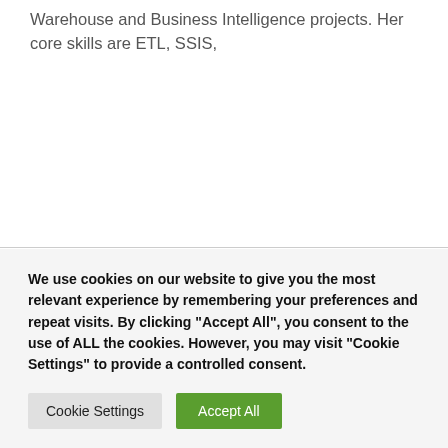Warehouse and Business Intelligence projects. Her core skills are ETL, SSIS,
We use cookies on our website to give you the most relevant experience by remembering your preferences and repeat visits. By clicking "Accept All", you consent to the use of ALL the cookies. However, you may visit "Cookie Settings" to provide a controlled consent.
Cookie Settings | Accept All